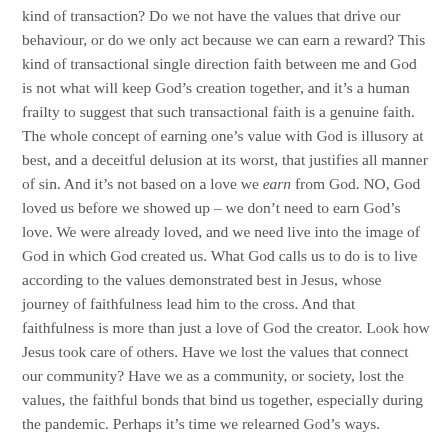kind of transaction? Do we not have the values that drive our behaviour, or do we only act because we can earn a reward? This kind of transactional single direction faith between me and God is not what will keep God's creation together, and it's a human frailty to suggest that such transactional faith is a genuine faith. The whole concept of earning one's value with God is illusory at best, and a deceitful delusion at its worst, that justifies all manner of sin. And it's not based on a love we earn from God. NO, God loved us before we showed up – we don't need to earn God's love. We were already loved, and we need live into the image of God in which God created us. What God calls us to do is to live according to the values demonstrated best in Jesus, whose journey of faithfulness lead him to the cross. And that faithfulness is more than just a love of God the creator. Look how Jesus took care of others. Have we lost the values that connect our community? Have we as a community, or society, lost the values, the faithful bonds that bind us together, especially during the pandemic. Perhaps it's time we relearned God's ways.
So, how do we recover what we have lost, where we have turned